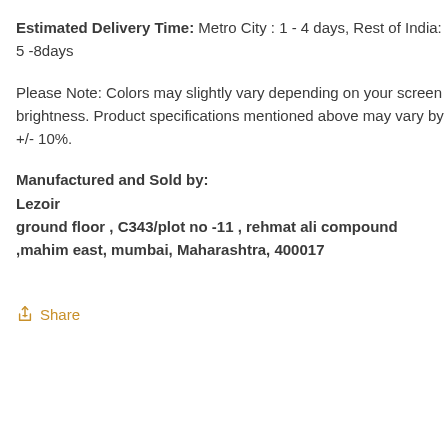Estimated Delivery Time: Metro City : 1 - 4 days, Rest of India: 5 -8days
Please Note: Colors may slightly vary depending on your screen brightness. Product specifications mentioned above may vary by +/- 10%.
Manufactured and Sold by:
Lezoir
 ground floor , C343/plot no -11 , rehmat ali compound ,mahim east, mumbai, Maharashtra, 400017
Share